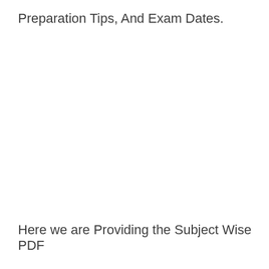Preparation Tips, And Exam Dates.
Here we are Providing the Subject Wise PDF